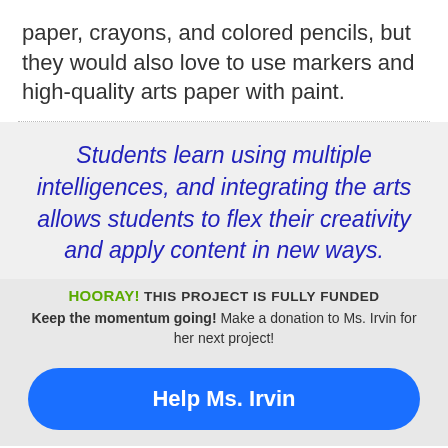paper, crayons, and colored pencils, but they would also love to use markers and high-quality arts paper with paint.
Students learn using multiple intelligences, and integrating the arts allows students to flex their creativity and apply content in new ways.
HOORAY! THIS PROJECT IS FULLY FUNDED
Keep the momentum going! Make a donation to Ms. Irvin for her next project!
Help Ms. Irvin